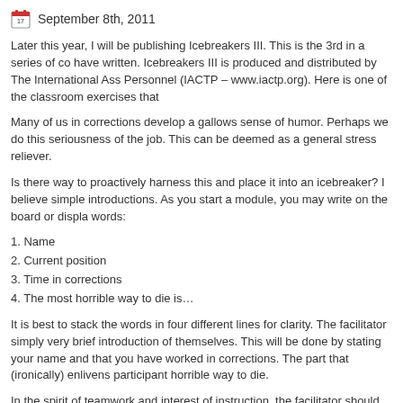September 8th, 2011
Later this year, I will be publishing Icebreakers III. This is the 3rd in a series of co have written. Icebreakers III is produced and distributed by The International Ass Personnel (IACTP – www.iactp.org). Here is one of the classroom exercises that
Many of us in corrections develop a gallows sense of humor. Perhaps we do this seriousness of the job. This can be deemed as a general stress reliever.
Is there way to proactively harness this and place it into an icebreaker? I believe simple introductions. As you start a module, you may write on the board or displa words:
1. Name
2. Current position
3. Time in corrections
4. The most horrible way to die is…
It is best to stack the words in four different lines for clarity. The facilitator simply very brief introduction of themselves. This will be done by stating your name and that you have worked in corrections. The part that (ironically) enlivens participant horrible way to die.
In the spirit of teamwork and interest of instruction, the facilitator should go first. M
Hi, my name is Joe.
I'm a corrections librarian.
I have been in corrections for 18 years.
I believe the most horrible way to die is being eaten by rats.